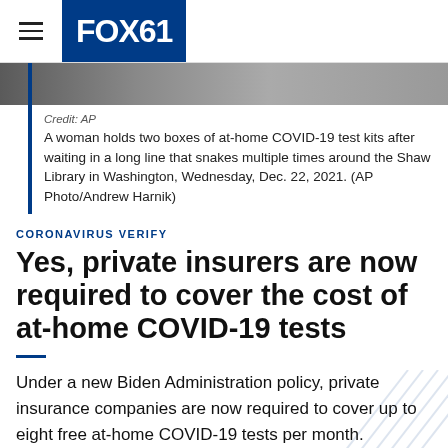FOX61
[Figure (photo): Photo strip showing a woman holding COVID-19 test kits]
Credit: AP
A woman holds two boxes of at-home COVID-19 test kits after waiting in a long line that snakes multiple times around the Shaw Library in Washington, Wednesday, Dec. 22, 2021. (AP Photo/Andrew Harnik)
CORONAVIRUS VERIFY
Yes, private insurers are now required to cover the cost of at-home COVID-19 tests
Under a new Biden Administration policy, private insurance companies are now required to cover up to eight free at-home COVID-19 tests per month.